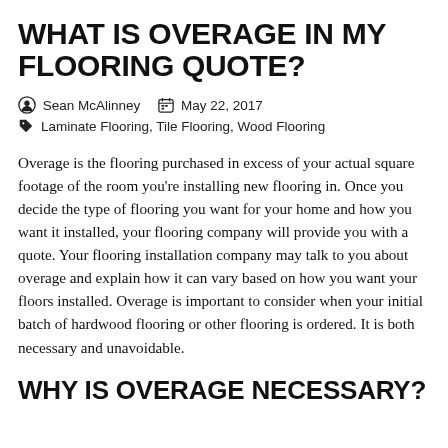WHAT IS OVERAGE IN MY FLOORING QUOTE?
Sean McAlinney   May 22, 2017
Laminate Flooring, Tile Flooring, Wood Flooring
Overage is the flooring purchased in excess of your actual square footage of the room you're installing new flooring in. Once you decide the type of flooring you want for your home and how you want it installed, your flooring company will provide you with a quote. Your flooring installation company may talk to you about overage and explain how it can vary based on how you want your floors installed. Overage is important to consider when your initial batch of hardwood flooring or other flooring is ordered. It is both necessary and unavoidable.
WHY IS OVERAGE NECESSARY?